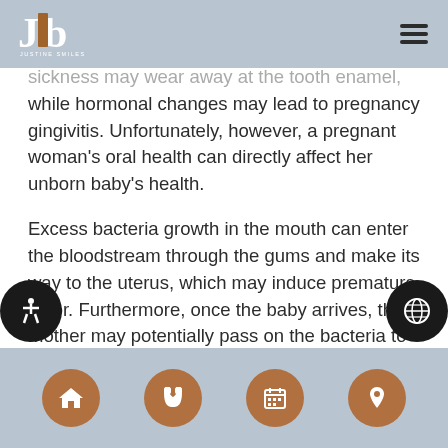Justine Smiles logo and navigation
sickness may wear away at the tooth enamel, while hormonal changes may lead to pregnancy gingivitis. Unfortunately, however, a pregnant woman's oral health can directly affect her unborn baby's health.
Excess bacteria growth in the mouth can enter the bloodstream through the gums and make its way to the uterus, which may induce premature labor. Furthermore, once the baby arrives, the mother may potentially pass on the bacteria to the newborn through vertical transmission. As such, it is critical that pregnant women brush at least twice a day with a fluoridated toothpaste,
Navigation bar with home, phone, calendar, location icons